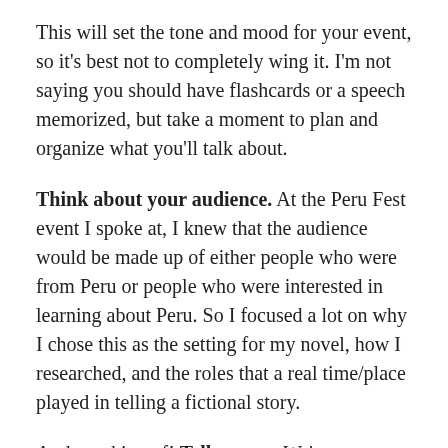This will set the tone and mood for your event, so it's best not to completely wing it. I'm not saying you should have flashcards or a speech memorized, but take a moment to plan and organize what you'll talk about.
Think about your audience. At the Peru Fest event I spoke at, I knew that the audience would be made up of either people who were from Peru or people who were interested in learning about Peru. So I focused a lot on why I chose this as the setting for my novel, how I researched, and the roles that a real time/place played in telling a fictional story.
And speaking of! Tell a story. We're storytellers. People are coming to your book event because they like stories. This doesn't mean you should spend an hour reading from your novel, but your talk should still